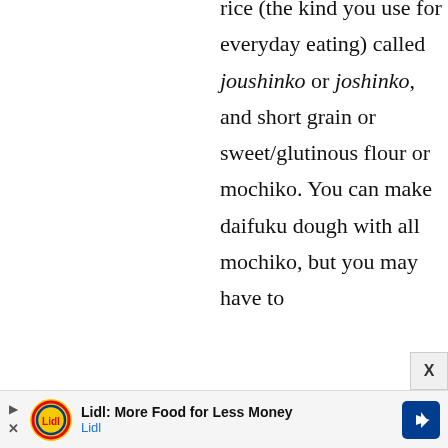rice (the kind you use for everyday eating) called joushinko or joshinko, and short grain or sweet/glutinous flour or mochiko. You can make daifuku dough with all mochiko, but you may have to
[Figure (other): Lidl advertisement banner: 'Lidl: More Food for Less Money' with Lidl logo and directional arrow icon]